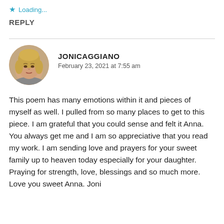★ Loading...
REPLY
[Figure (photo): Circular avatar photo of a blonde woman (Jonicaggiano)]
JONICAGGIANO
February 23, 2021 at 7:55 am
This poem has many emotions within it and pieces of myself as well. I pulled from so many places to get to this piece. I am grateful that you could sense and felt it Anna. You always get me and I am so appreciative that you read my work. I am sending love and prayers for your sweet family up to heaven today especially for your daughter. Praying for strength, love, blessings and so much more. Love you sweet Anna. Joni